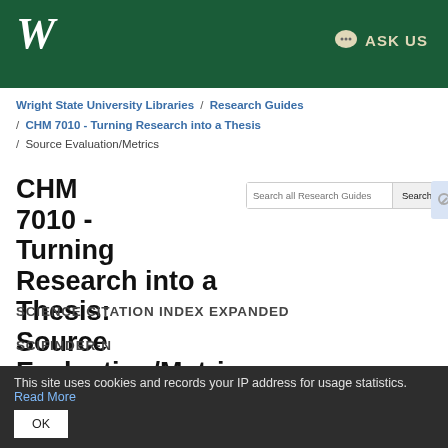W
ASK US
Wright State University Libraries / Research Guides / CHM 7010 - Turning Research into a Thesis / Source Evaluation/Metrics
CHM 7010 - Turning Research into a Thesis: Source Evaluation/Metrics
SCIENCE CITATION INDEX EXPANDED
SCIFINDER-N
This site uses cookies and records your IP address for usage statistics. Read More OK